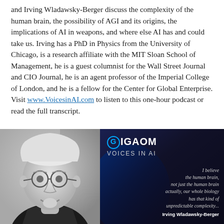and Irving Wladawsky-Berger discuss the complexity of the human brain, the possibility of AGI and its origins, the implications of AI in weapons, and where else AI has and could take us. Irving has a PhD in Physics from the University of Chicago, is a research affiliate with the MIT Sloan School of Management, he is a guest columnist for the Wall Street Journal and CIO Journal, he is an agent professor of the Imperial College of London, and he is a fellow for the Center for Global Enterprise. Visit www.VoicesinAI.com to listen to this one-hour podcast or read the full transcript.
[Figure (photo): Composite image: left half is a black-and-white photo of Irving Wladawsky-Berger (elderly man with glasses, white hair, goatee, smiling); right half is a dark GigaOm 'Voices in AI' branded card with a quote: 'I believe the human brain, not just the human brain actually, our whole biology has that kind of unpredictable complexity...' attributed to Irving Wladawsky-Berger.]